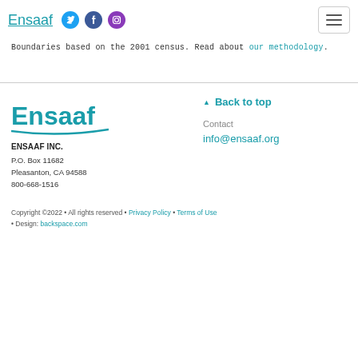Ensaaf [logo with Twitter, Facebook, Instagram social icons and hamburger menu]
Boundaries based on the 2001 census. Read about our methodology.
[Figure (logo): Ensaaf logo in teal/blue with swoosh underline]
ENSAAF INC.
P.O. Box 11682
Pleasanton, CA 94588
800-668-1516
▲ Back to top
Contact
info@ensaaf.org
Copyright ©2022 • All rights reserved • Privacy Policy • Terms of Use • Design: backspace.com